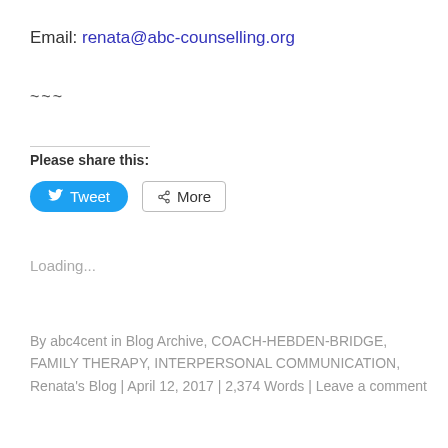Email: renata@abc-counselling.org
~~~
Please share this:
[Figure (other): Tweet button and More share button]
Loading...
By abc4cent in Blog Archive, COACH-HEBDEN-BRIDGE, FAMILY THERAPY, INTERPERSONAL COMMUNICATION, Renata's Blog | April 12, 2017 | 2,374 Words | Leave a comment